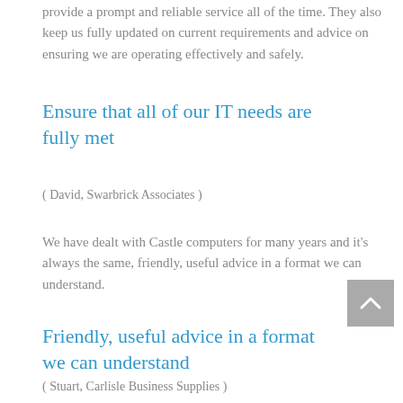provide a prompt and reliable service all of the time. They also keep us fully updated on current requirements and advice on ensuring we are operating effectively and safely.
Ensure that all of our IT needs are fully met
( David, Swarbrick Associates )
We have dealt with Castle computers for many years and it's always the same, friendly, useful advice in a format we can understand.
Friendly, useful advice in a format we can understand
( Stuart, Carlisle Business Supplies )